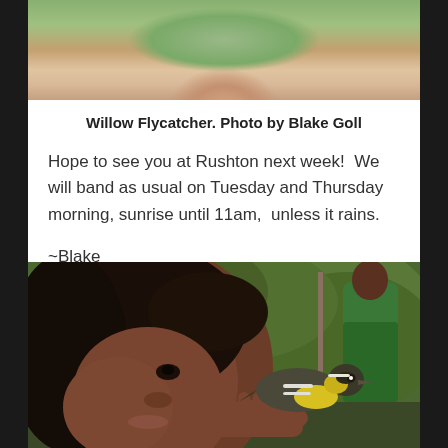[Figure (photo): Close-up photo of hands holding a Willow Flycatcher bird, with green grass in background — top portion visible]
Willow Flycatcher. Photo by Blake Goll
Hope to see you at Rushton next week!  We will band as usual on Tuesday and Thursday morning, sunrise until 11am,  unless it rains.
~Blake
[Figure (photo): A young woman holding a small yellow and grey warbler bird up close to her face, with green foliage and a person in a green shirt visible in the background]